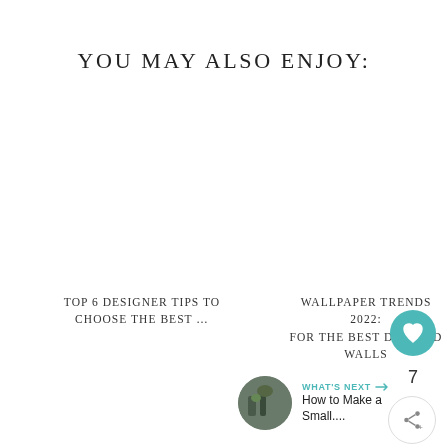YOU MAY ALSO ENJOY:
TOP 6 DESIGNER TIPS TO CHOOSE THE BEST …
WALLPAPER TRENDS 2022: FOR THE BEST DRESSED WALLS
7
WHAT'S NEXT → How to Make a Small....